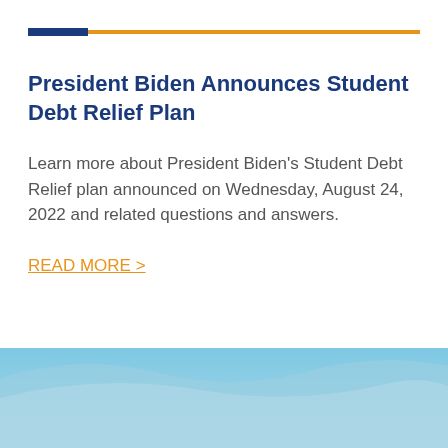[Figure (other): Decorative horizontal bar with dark navy blue block on left and orange line extending to the right]
President Biden Announces Student Debt Relief Plan
Learn more about President Biden's Student Debt Relief plan announced on Wednesday, August 24, 2022 and related questions and answers.
READ MORE >
[Figure (illustration): Light blue wave/water decorative footer graphic]